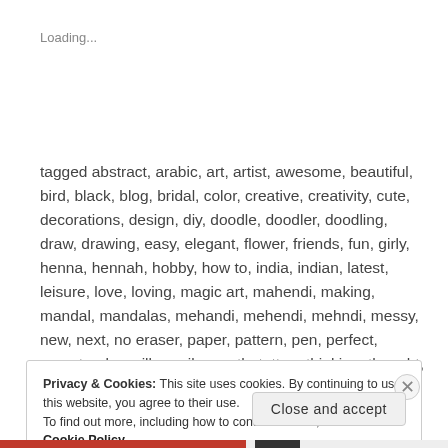Loading...
tagged abstract, arabic, art, artist, awesome, beautiful, bird, black, blog, bridal, color, creative, creativity, cute, decorations, design, diy, doodle, doodler, doodling, draw, drawing, easy, elegant, flower, friends, fun, girly, henna, hennah, hobby, how to, india, indian, latest, leisure, love, loving, magic art, mahendi, making, mandal, mandalas, mehandi, mehendi, mehndi, messy, new, next, no eraser, paper, pattern, pen, perfect, recent, relax, silly, smile, sooth, tattoo, thinking, thought, vector, vlog, weird, white, zen, zenart, zendoodle, zentangle     6 comments
Privacy & Cookies: This site uses cookies. By continuing to use this website, you agree to their use.
To find out more, including how to control cookies, see here: Cookie Policy
Close and accept